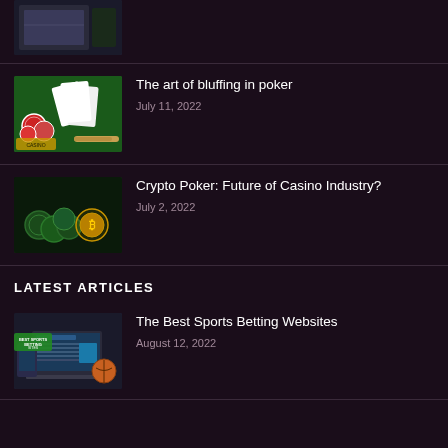[Figure (photo): Partial image at top of page, laptop/gaming related, cut off]
[Figure (photo): Poker cards, casino chips, and a cigar on a green felt table]
The art of bluffing in poker
July 11, 2022
[Figure (photo): Dark background with green and gold crypto poker chips and a bitcoin coin]
Crypto Poker: Future of Casino Industry?
July 2, 2022
LATEST ARTICLES
[Figure (photo): Sports betting website shown on laptop and smartphone with Best Sports Betting Sites label]
The Best Sports Betting Websites
August 12, 2022